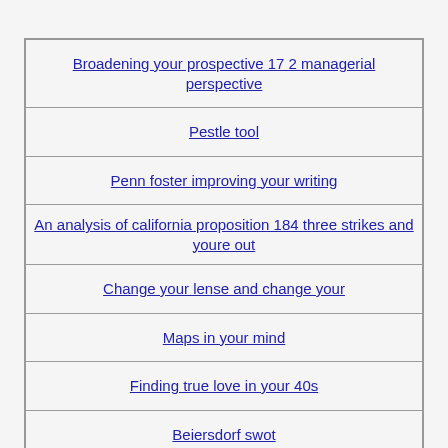Broadening your prospective 17 2 managerial perspective
Pestle tool
Penn foster improving your writing
An analysis of california proposition 184 three strikes and youre out
Change your lense and change your
Maps in your mind
Finding true love in your 40s
Beiersdorf swot
Write a letter to your imaginary future son or daughter